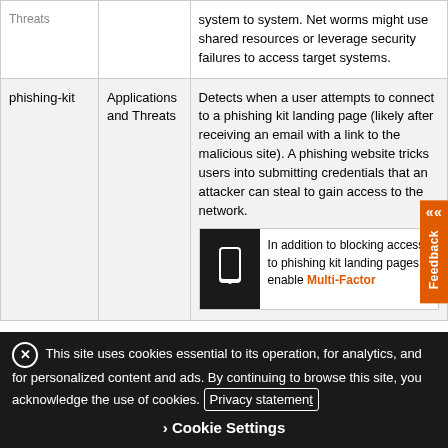|  | Applications and Threats | Description |
| --- | --- | --- |
|  | Threats | system to system. Net worms might use shared resources or leverage security failures to access target systems. |
| phishing-kit | Applications and Threats | Detects when a user attempts to connect to a phishing kit landing page (likely after receiving an email with a link to the malicious site). A phishing website tricks users into submitting credentials that an attacker can steal to gain access to the network. |
In addition to blocking access to phishing kit landing pages, enable Multi-Factor
This site uses cookies essential to its operation, for analytics, and for personalized content and ads. By continuing to browse this site, you acknowledge the use of cookies. Privacy statement
Cookie Settings